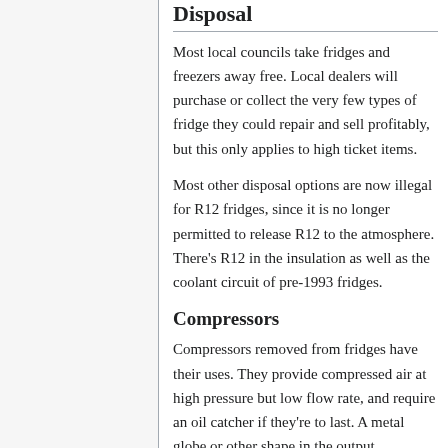Disposal
Most local councils take fridges and freezers away free. Local dealers will purchase or collect the very few types of fridge they could repair and sell profitably, but this only applies to high ticket items.
Most other disposal options are now illegal for R12 fridges, since it is no longer permitted to release R12 to the atmosphere. There's R12 in the insulation as well as the coolant circuit of pre-1993 fridges.
Compressors
Compressors removed from fridges have their uses. They provide compressed air at high pressure but low flow rate, and require an oil catcher if they're to last. A metal globe or other shape in the output